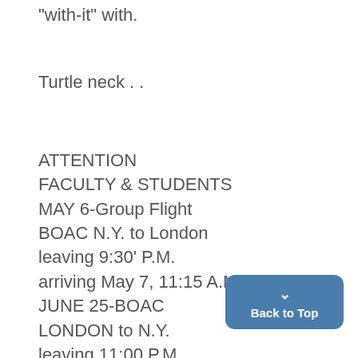"with-it" with.
Turtle neck . .
ATTENTION
FACULTY & STUDENTS
MAY 6-Group Flight
BOAC N.Y. to London
leaving 9:30' P.M.
arriving May 7, 11:15 A.M.
JUNE 25-BOAC
LONDON to N.Y.
leaving 11:00 P.M.
arriving 1:40 P.M.